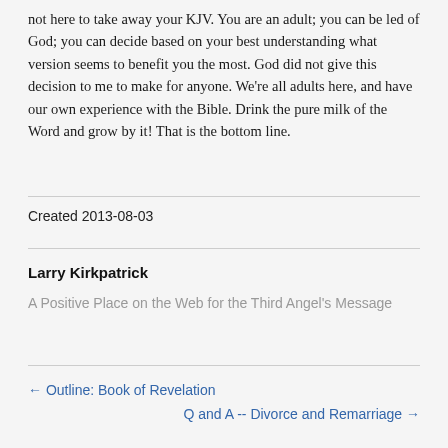not here to take away your KJV. You are an adult; you can be led of God; you can decide based on your best understanding what version seems to benefit you the most. God did not give this decision to me to make for anyone. We're all adults here, and have our own experience with the Bible. Drink the pure milk of the Word and grow by it! That is the bottom line.
Created 2013-08-03
Larry Kirkpatrick
A Positive Place on the Web for the Third Angel's Message
← Outline: Book of Revelation
Q and A -- Divorce and Remarriage →